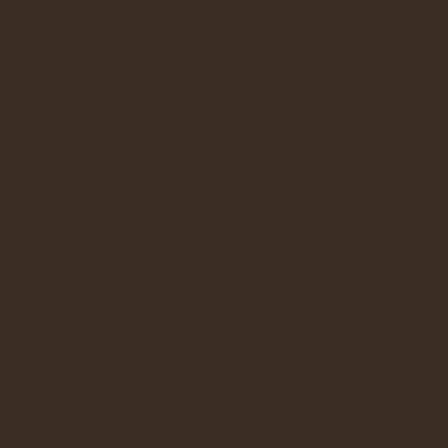[Figure (screenshot): Dark brown panel on the left side occupying approximately 77% of the page width]
MATERIAL_F
MATERIAL_F
PHY_MATER
MATERIAL_F
GENERIC_FI
INVALID
STAIRS_ATT
STAIRS_ATT
STAIRS_ATT
STAIRS_ATT
HOSTFIN_PA
PHY_MATER
PHY_MATER
PHY_MATER
PHY_MATER
PHY_MATER
PHY_MATER
PHY_MATER
PHY_MATER
PHY_MATER
PHY_MATER
PHY_MATER